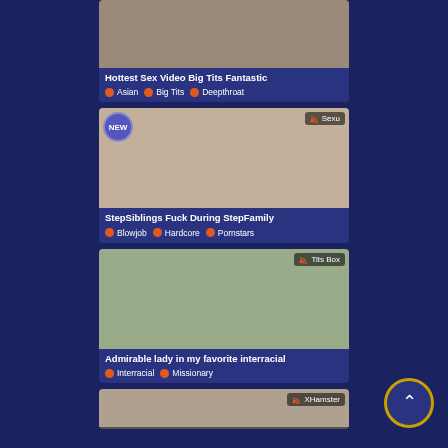[Figure (screenshot): Thumbnail image for video: Hottest Sex Video Big Tits Fantastic]
Hottest Sex Video Big Tits Fantastic
Asian  Big Tits  Deepthroat
[Figure (screenshot): Thumbnail image for video: StepSiblings Fuck During StepFamily (NEW badge, Sexu source)]
StepSiblings Fuck During StepFamily
Blowjob  Hardcore  Pornstars
[Figure (screenshot): Thumbnail image for video: Admirable lady in my favorite interracial (Tits Box source)]
Admirable lady in my favorite interracial
Interracial  Missionary
[Figure (screenshot): Thumbnail image for fourth video (XHamster source), partially visible]